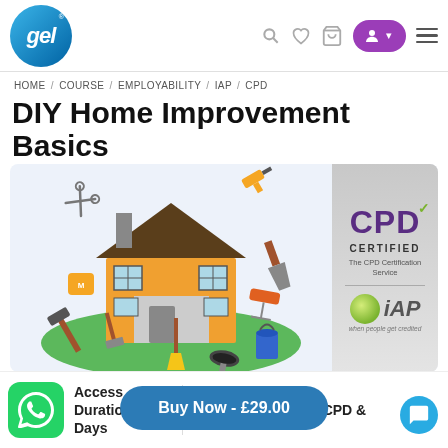[Figure (logo): gel e-learning logo - blue circle with 'gel' text]
HOME / COURSE / EMPLOYABILITY / IAP / CPD
DIY Home Improvement Basics
[Figure (illustration): DIY home improvement illustration showing a house with various tools around it including drill, scissors, trowel, roller, hammer, angle grinder, broom, paint bucket, measuring tape]
[Figure (logo): CPD Certified logo with The CPD Certification Service text]
[Figure (logo): iAP logo with globe icon and 'when people get credited' tagline]
Access Duration - 365 Days
Accredited By "CPD &
Buy Now - £29.00